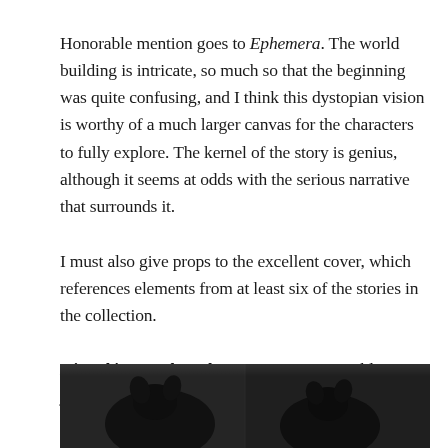Honorable mention goes to Ephemera. The world building is intricate, so much so that the beginning was quite confusing, and I think this dystopian vision is worthy of a much larger canvas for the characters to fully explore. The kernel of the story is genius, although it seems at odds with the serious narrative that surrounds it.
I must also give props to the excellent cover, which references elements from at least six of the stories in the collection.
Disturbing Works Volume II was an enjoyable journey through some fascinating worlds, and I look forward to reading more by this author. I award it…
[Figure (photo): Black and white photo showing what appears to be two animals (possibly dogs or cats) on a dark couch or chair, partially cropped at the bottom of the page.]